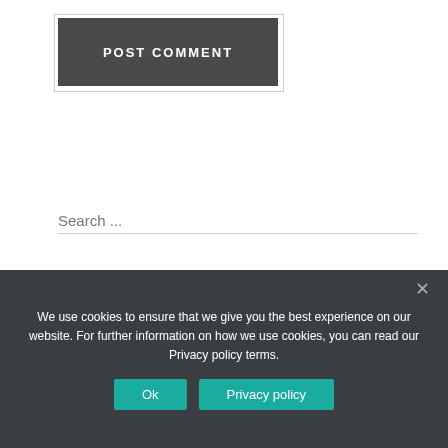[Figure (other): POST COMMENT button — dark grey rectangular button with white uppercase text 'POST COMMENT' with border outline]
Search ...
Best Ad Deals
[Figure (infographic): Red banner advertisement showing a laptop and shopping cart on left, with white text 'Get Best Ad Best Deals Online Shopping' and orange text 'Trends' on the right]
We use cookies to ensure that we give you the best experience on our website. For further information on how we use cookies, you can read our Privacy policy terms.
[Figure (other): Ok button and Privacy policy button in teal/green color at bottom of cookie consent bar]